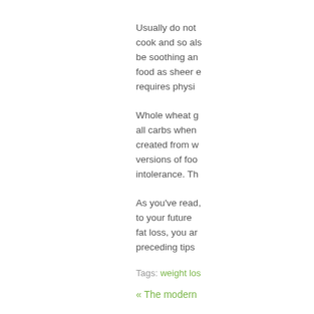Usually do not cook and so also be soothing and food as sheer e requires physi
Whole wheat g all carbs when created from w versions of foo intolerance. Th
As you've read, to your future fat loss, you ar preceding tips
Tags: weight los
« The modern